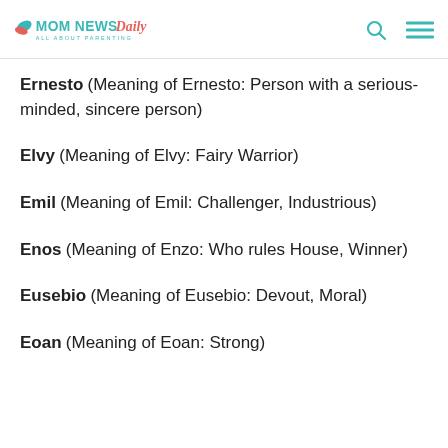MOM NEWS Daily — ALL ABOUT PARENTING
Ernesto (Meaning of Ernesto: Person with a serious-minded, sincere person)
Elvy (Meaning of Elvy: Fairy Warrior)
Emil (Meaning of Emil: Challenger, Industrious)
Enos (Meaning of Enzo: Who rules House, Winner)
Eusebio (Meaning of Eusebio: Devout, Moral)
Eoan (Meaning of Eoan: Strong)